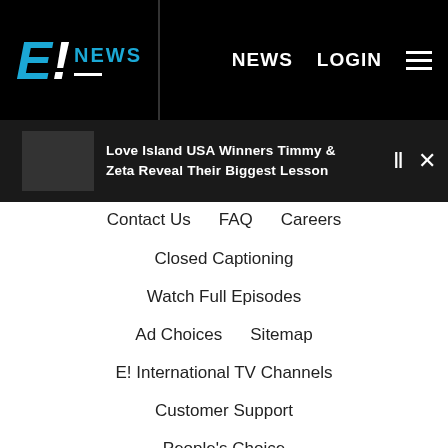E! NEWS  NEWS  LOGIN
Love Island USA Winners Timmy & Zeta Reveal Their Biggest Lesson
Contact Us   FAQ   Careers
Closed Captioning
Watch Full Episodes
Ad Choices   Sitemap
E! International TV Channels
Customer Support
People's Choice
People's Choice FAQ
Become an E! Influencer